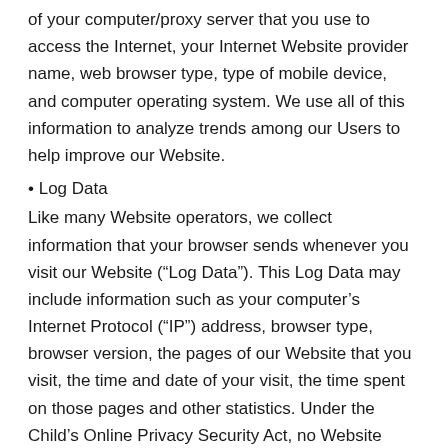of your computer/proxy server that you use to access the Internet, your Internet Website provider name, web browser type, type of mobile device, and computer operating system. We use all of this information to analyze trends among our Users to help improve our Website.
• Log Data
Like many Website operators, we collect information that your browser sends whenever you visit our Website (“Log Data”). This Log Data may include information such as your computer’s Internet Protocol (“IP”) address, browser type, browser version, the pages of our Website that you visit, the time and date of your visit, the time spent on those pages and other statistics. Under the Child’s Online Privacy Security Act, no Website operator can require, as a condition to involvement in an activity, that a child younger than 13 years of age divulge more details than is reasonably required. wingreatness.com abides by this demand. win greatness.com just collects information willingly offered; no information is gathered passively. children under 13 can submit only their email address when sending us